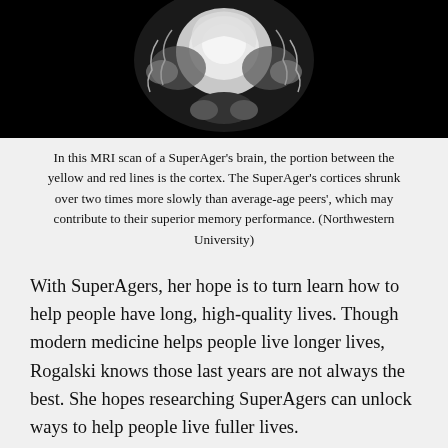[Figure (photo): Black and white MRI brain scan showing cortex regions highlighted between yellow and red lines, set against a dark background.]
In this MRI scan of a SuperAger's brain, the portion between the yellow and red lines is the cortex. The SuperAger's cortices shrunk over two times more slowly than average-age peers', which may contribute to their superior memory performance. (Northwestern University)
With SuperAgers, her hope is to turn learn how to help people have long, high-quality lives. Though modern medicine helps people live longer lives, Rogalski knows those last years are not always the best. She hopes researching SuperAgers can unlock ways to help people live fuller lives.
One way she hopes to achieve this is by looking at the SuperAger's personalities. Though people